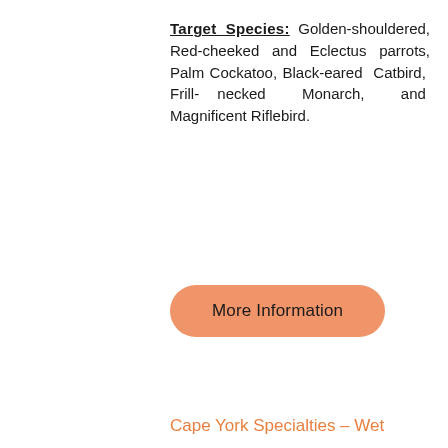Target Species: Golden-shouldered, Red-cheeked and Eclectus parrots, Palm Cockatoo, Black-eared Catbird, Frill-necked Monarch, and Magnificent Riflebird.
[Figure (other): Orange rounded button labeled 'More Information']
Cape York Specialties – Wet